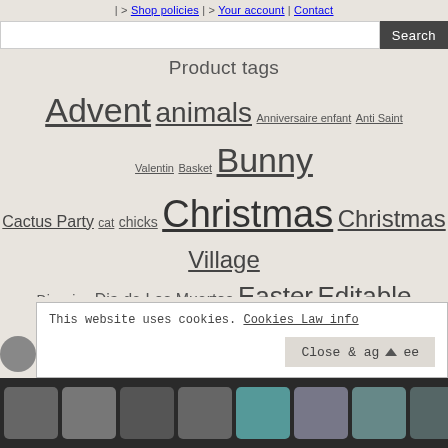| > Shop policies | > Your account | Contact
Product tags
Advent animals Anniversaire enfant Anti Saint Valentin Basket Bunny Cactus Party cat chicks Christmas Christmas Village Disguise Dia de Los Muertos Easter Editable tags Fairies Flamingo Food Gingerbread House Halloween Harry Potter Invitation personnalisable Japan Kid Bedroom Papertoy Penguins Pumpkin Rennes Rocket Sushi Tea Thanksgiving Tropical Ugly sweaters Valentine
Download, Print & Voilà!
This website uses cookies. Cookies Law info Close & agree